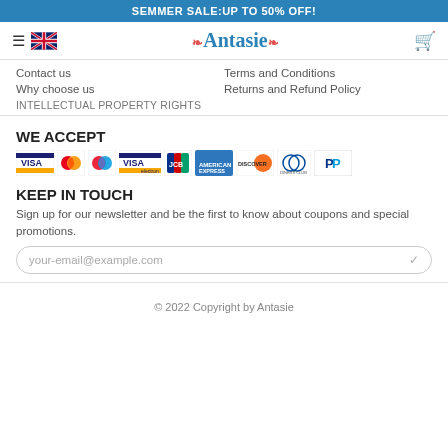SEMMER SALE:UP TO 50% OFF!
[Figure (logo): Antasie logo with hamburger menu, UK flag, and shopping cart icon in header navigation bar]
Contact us
Why choose us
INTELLECTUAL PROPERTY RIGHTS
Terms and Conditions
Returns and Refund Policy
WE ACCEPT
[Figure (other): Payment method icons: VISA, Mastercard, Maestro, VISA Electron, JCB, American Express, Discover, Diners Club, PayPal]
KEEP IN TOUCH
Sign up for our newsletter and be the first to know about coupons and special promotions.
your-email@example.com
© 2022 Copyright by Antasie